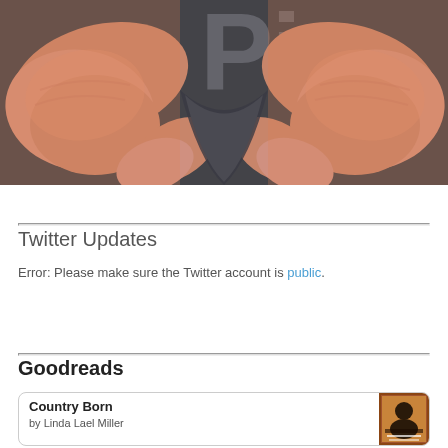[Figure (photo): Hands forming a heart shape in front of a gray Pinterest-branded t-shirt with the Pinterest 'P' logo visible]
Twitter Updates
Error: Please make sure the Twitter account is public.
Goodreads
Country Born
by Linda Lael Miller